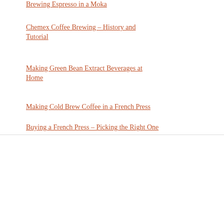Brewing Espresso in a Moka
Chemex Coffee Brewing – History and Tutorial
Making Green Bean Extract Beverages at Home
Making Cold Brew Coffee in a French Press
Buying a French Press – Picking the Right One
SECTIONS
Brewing Coffee
Cafe Culture